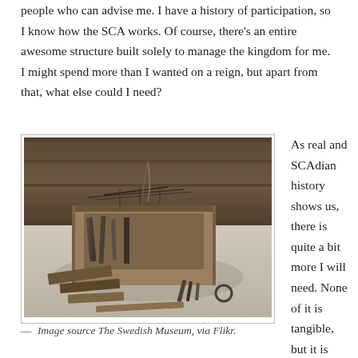people who can advise me. I have a history of participation, so I know how the SCA works. Of course, there's an entire awesome structure built solely to manage the kingdom for me. I might spend more than I wanted on a reign, but apart from that, what else could I need?
[Figure (photo): A collection of old wooden and metal tools or implements arranged on a light surface, photographed from above at an angle. The items appear to be medieval or historical artifacts including what looks like a wooden box/chest and various iron tools.]
— Image source The Swedish Museum, via Flikr.
As real and SCAdian history shows us, there is quite a bit more I will need. None of it is tangible, but it is essential